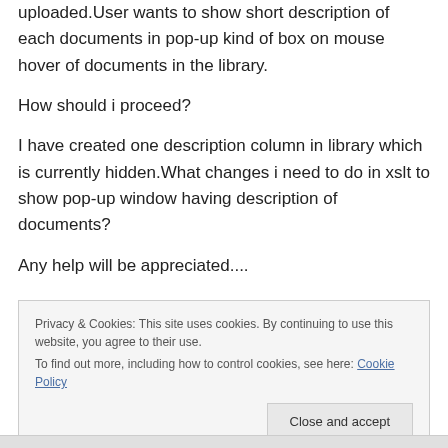uploaded.User wants to show short description of each documents in pop-up kind of box on mouse hover of documents in the library.
How should i proceed?
I have created one description column in library which is currently hidden.What changes i need to do in xslt to show pop-up window having description of documents?
Any help will be appreciated....
Privacy & Cookies: This site uses cookies. By continuing to use this website, you agree to their use.
To find out more, including how to control cookies, see here: Cookie Policy